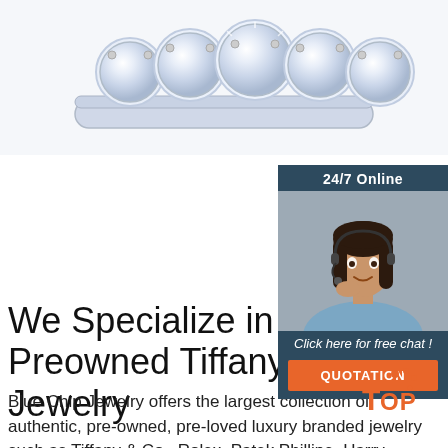[Figure (photo): Close-up photo of a diamond eternity ring with multiple large round-cut diamonds set in white gold/platinum, shown against a white background.]
[Figure (photo): 24/7 Online customer service chat widget showing a smiling female agent wearing a headset, with a dark navy background, 'Click here for free chat!' text, and an orange QUOTATION button.]
We Specialize in Preloved Preowned Tiffany & Co. Jewelry
Blue Chip Jewelry offers the largest collection of authentic, pre-owned, pre-loved luxury branded jewelry such as Tiffany & Co., Rolex, Patek Phillipe, Harry Winston, Cartier and many others, at an
[Figure (logo): TOP logo badge with orange dots and letters]